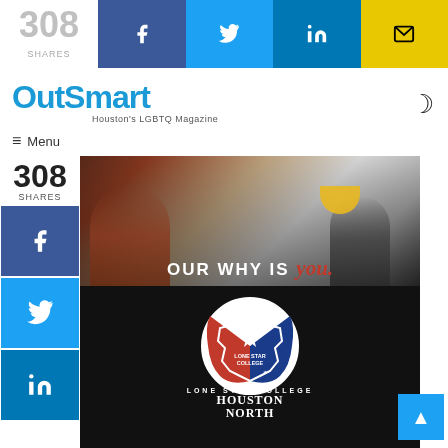308 SHARES
[Figure (screenshot): Social share buttons: Facebook (blue), Twitter (cyan), LinkedIn (blue), Email (yellow)]
[Figure (logo): OutSmart Houston's LGBTQ Magazine logo with moon/dark-mode icon and hamburger menu]
≡ Menu
308
SHARES
[Figure (photo): Advertisement for Lone Star College Houston North. Photo of two people with a child, text 'OUR WHY IS you.' and Lone Star College logo with Texas shape. Bottom text: LONE STAR COLLEGE HOUSTON NORTH]